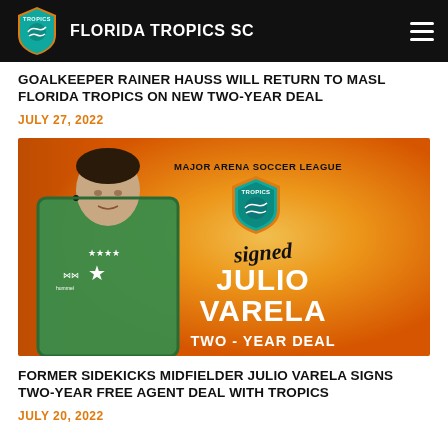FLORIDA TROPICS SC
GOALKEEPER RAINER HAUSS WILL RETURN TO MASL FLORIDA TROPICS ON NEW TWO-YEAR DEAL
JULY 27, 2022
[Figure (photo): Signing announcement graphic for Julio Varela with Florida Tropics SC. Orange background, player in green goalkeeper jersey on left, Tropics shield logo, text reading 'MAJOR ARENA SOCCER LEAGUE', 'signed', 'JULIO VARELA', 'TWO - YEAR DEAL']
FORMER SIDEKICKS MIDFIELDER JULIO VARELA SIGNS TWO-YEAR FREE AGENT DEAL WITH TROPICS
JULY 20, 2022